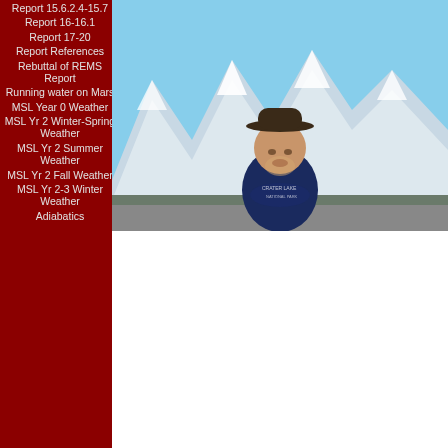Report 15.6.2.4-15.7
Report 16-16.1
Report 17-20
Report References
Rebuttal of REMS Report
Running water on Mars
MSL Year 0 Weather
MSL Yr 2 Winter-Spring Weather
MSL Yr 2 Summer Weather
MSL Yr 2 Fall Weather
MSL Yr 2-3 Winter Weather
Adiabatics
[Figure (photo): A man wearing a dark blue Crater Lake National Park sweatshirt and a hat, standing in front of snow-covered mountains under a clear blue sky.]